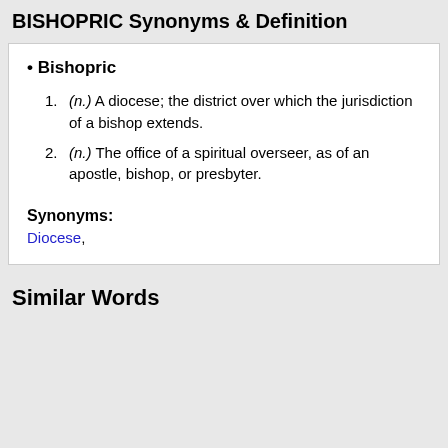BISHOPRIC Synonyms & Definition
Bishopric
(n.) A diocese; the district over which the jurisdiction of a bishop extends.
(n.) The office of a spiritual overseer, as of an apostle, bishop, or presbyter.
Synonyms:
Diocese,
Similar Words